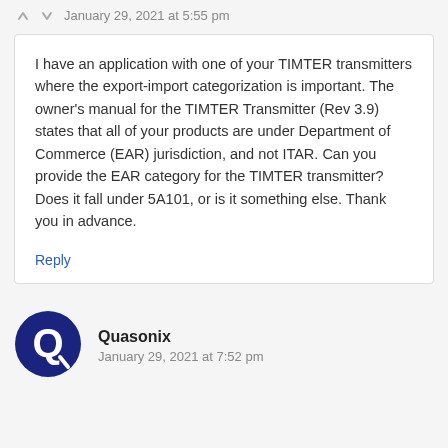January 29, 2021 at 5:55 pm
I have an application with one of your TIMTER transmitters where the export-import categorization is important. The owner's manual for the TIMTER Transmitter (Rev 3.9) states that all of your products are under Department of Commerce (EAR) jurisdiction, and not ITAR. Can you provide the EAR category for the TIMTER transmitter? Does it fall under 5A101, or is it something else. Thank you in advance.
Reply
Quasonix
January 29, 2021 at 7:52 pm